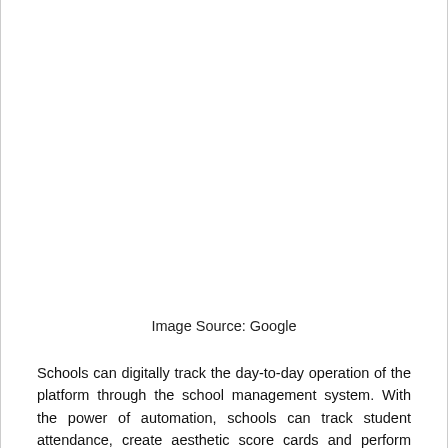[Figure (other): Image placeholder area (image not visible in this crop, sourced from Google)]
Image Source: Google
Schools can digitally track the day-to-day operation of the platform through the school management system. With the power of automation, schools can track student attendance, create aesthetic score cards and perform other activities with